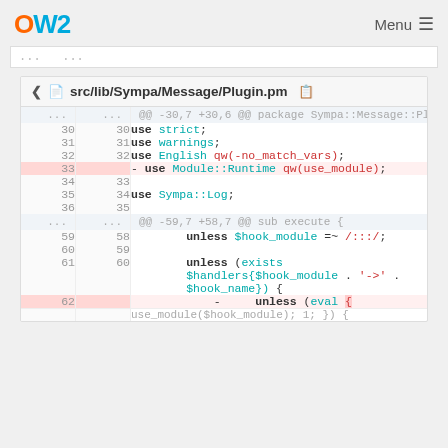OW2  Menu
[Figure (screenshot): Code diff view for src/lib/Sympa/Message/Plugin.pm showing removal of 'use Module::Runtime qw(use_module);' line and context lines around it, with line numbers, in a web-based diff viewer.]
@@ -30,7 +30,6 @@ package Sympa::Message::Plugin;
30 30   use strict;
31 31   use warnings;
32 32   use English qw(-no_match_vars);
33  - use Module::Runtime qw(use_module);
34 33  
35 34   use Sympa::Log;
36 35  
... ...  @@ -59,7 +58,7 @@ sub execute {
59 58       unless $hook_module =~ /:::/;
60 59  
61 60       unless (exists $handlers{$hook_module . '->' . $hook_name}) {
62  - unless (eval {